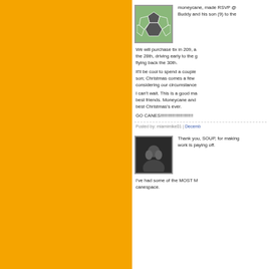[Figure (photo): Green soccer ball avatar icon with white pentagon/hexagon pattern]
moneycane, made RSVP @ Buddy and his son (9) to the
We will purchase tix in 209, a the 28th, driving early to the g flying back the 30th.
It'll be cool to spend a couple son; Christmas comes a few considering our circumstance
I can't wait. This is a good ma best friends. Moneycane and best Christmas's ever.
GO CANES!!!!!!!!!!!!!!!!!!!!!!!!!
Posted by: miamimike01 | Decemb
[Figure (photo): Dark photo of people at an event]
Thank you, SOUP, for making work is paying off.
I've had some of the MOST M canespace.